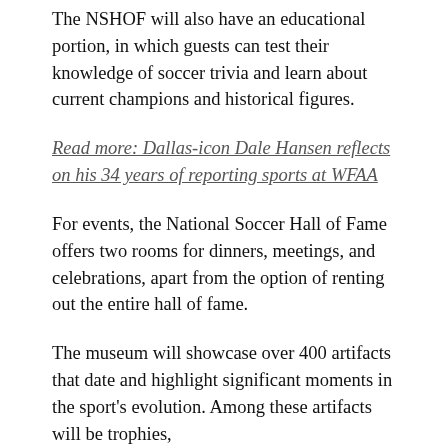The NSHOF will also have an educational portion, in which guests can test their knowledge of soccer trivia and learn about current champions and historical figures.
Read more: Dallas-icon Dale Hansen reflects on his 34 years of reporting sports at WFAA
For events, the National Soccer Hall of Fame offers two rooms for dinners, meetings, and celebrations, apart from the option of renting out the entire hall of fame.
The museum will showcase over 400 artifacts that date and highlight significant moments in the sport's evolution. Among these artifacts will be trophies,